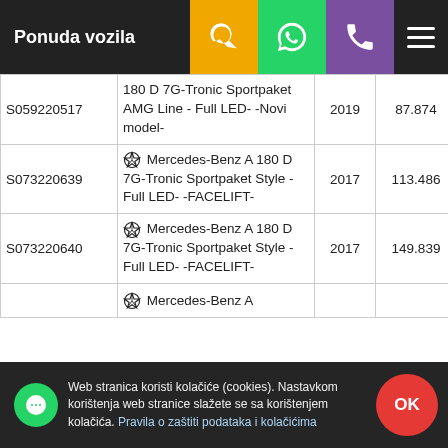Ponuda vozila
| ID | Opis | Godina | KM | Cijena |
| --- | --- | --- | --- | --- |
| S059220517 | 180 D 7G-Tronic Sportpaket AMG Line - Full LED- -Novi model- | 2019 | 87.874 | KM 66.990,00 |
| S073220639 | Mercedes-Benz A 180 D 7G-Tronic Sportpaket Style -Full LED- -FACELIFT- | 2017 | 113.486 | KM 39.990,00 |
| S073220640 | Mercedes-Benz A 180 D 7G-Tronic Sportpaket Style -Full LED- -FACELIFT- | 2017 | 149.839 | KM 37.990,00 |
|  | Mercedes-Benz A |  |  |  |
Web stranica koristi kolačiće (cookies). Nastavkom korištenja web stranice slažete se sa korištenjem kolačića. Pravila o zaštiti podataka i kolačićima